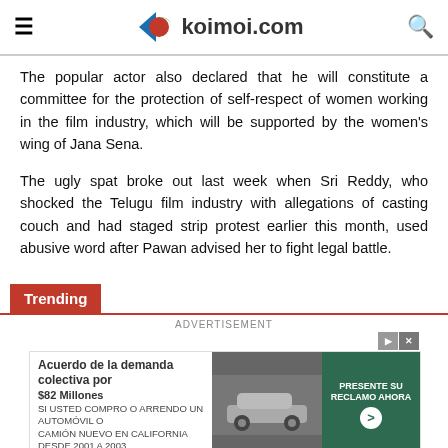koimoi.com
The popular actor also declared that he will constitute a committee for the protection of self-respect of women working in the film industry, which will be supported by the women's wing of Jana Sena.
The ugly spat broke out last week when Sri Reddy, who shocked the Telugu film industry with allegations of casting couch and had staged strip protest earlier this month, used abusive word after Pawan advised her to fight legal battle.
Trending
ADVERTISEMENT
[Figure (other): Advertisement banner: Acuerdo de la demanda colectiva por $82 Millones - SI USTED COMPRO O ARRENDO UN AUTOMOVIL O CAMION NUEVO EN CALIFORNIA DESDE 2001 A 2003 - PRESENTE SU RECLAMO AHORA]